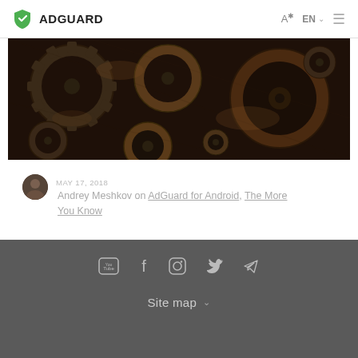ADGUARD
[Figure (photo): Close-up of multiple rusty metal interlocking gears/cogs with dark brown and copper tones]
MAY 17, 2018
Andrey Meshkov on AdGuard for Android, The More You Know
Site map